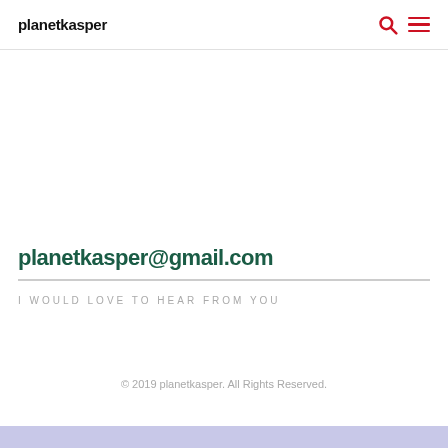planetkasper
planetkasper@gmail.com
I WOULD LOVE TO HEAR FROM YOU
© 2019 planetkasper. All Rights Reserved.